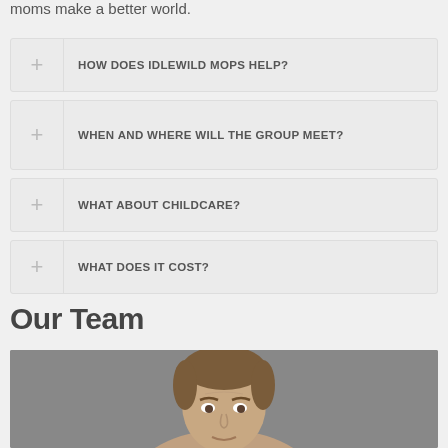moms make a better world.
HOW DOES IDLEWILD MOPS HELP?
WHEN AND WHERE WILL THE GROUP MEET?
WHAT ABOUT CHILDCARE?
WHAT DOES IT COST?
Our Team
[Figure (photo): Headshot photo of a middle-aged man with short brown hair against a gray background]